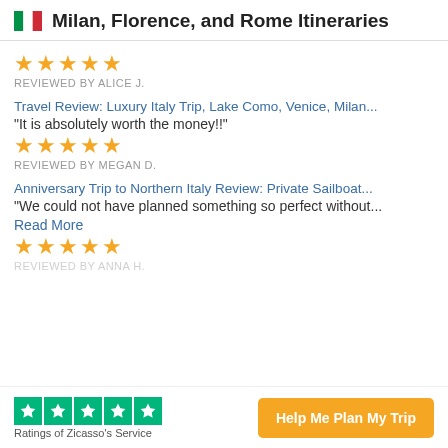Milan, Florence, and Rome Itineraries
[Figure (illustration): Italian flag icon]
REVIEWED BY ALICE J.
Travel Review: Luxury Italy Trip, Lake Como, Venice, Milan...
"It is absolutely worth the money!!"
REVIEWED BY MEGAN D.
Anniversary Trip to Northern Italy Review: Private Sailboat...
"We could not have planned something so perfect without...
Read More
REVIEWED BY ANNA H.
Ratings of Zicasso's Service
Help Me Plan My Trip